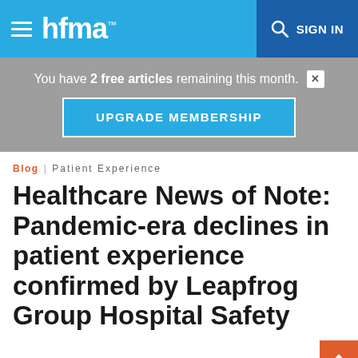hfma
You have 2 free articles remaining this month.
UPGRADE MEMBERSHIP
Blog | Patient Experience
Healthcare News of Note: Pandemic-era declines in patient experience confirmed by Leapfrog Group Hospital Safety